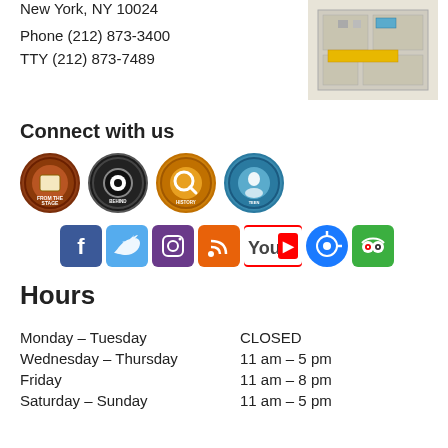New York, NY 10024
Phone (212) 873-3400
TTY (212) 873-7489
[Figure (map): Floor map diagram of museum area]
Connect with us
[Figure (infographic): Four circular social/program icons: From the Stage, Behind the Scenes, History Detective, Teen Historians]
[Figure (infographic): Social media icons row: Facebook, Twitter, Instagram, RSS, YouTube, iTunes, TripAdvisor]
Hours
| Monday – Tuesday | CLOSED |
| Wednesday – Thursday | 11 am – 5 pm |
| Friday | 11 am – 8 pm |
| Saturday – Sunday | 11 am – 5 pm |